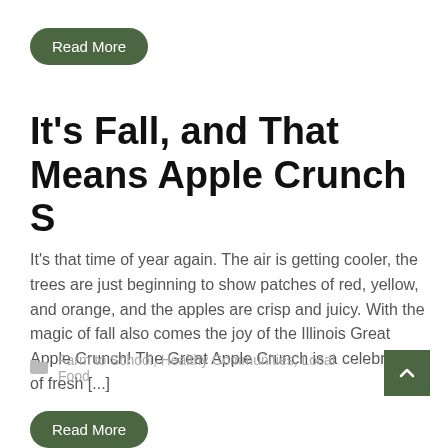Read More
It's Fall, and That Means Apple Crunch S
It's that time of year again. The air is getting cooler, the trees are just beginning to show patches of red, yellow, and orange, and the apples are crisp and juicy. With the magic of fall also comes the joy of the Illinois Great Apple Crunch! The Great Apple Crunch is a celebration of fresh [...]
Farm to School, Healthy Communities, Local Food
Read More